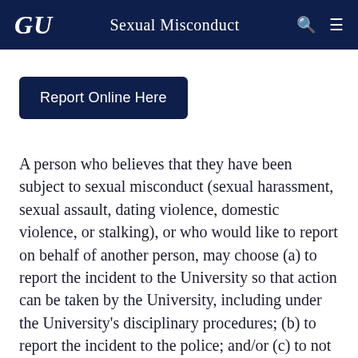GU  Sexual Misconduct
Report Online Here
A person who believes that they have been subject to sexual misconduct (sexual harassment, sexual assault, dating violence, domestic violence, or stalking), or who would like to report on behalf of another person, may choose (a) to report the incident to the University so that action can be taken by the University, including under the University's disciplinary procedures; (b) to report the incident to the police; and/or (c) to not report the incident.  Reports may be made regardless of when the incidents occurred and whether or not